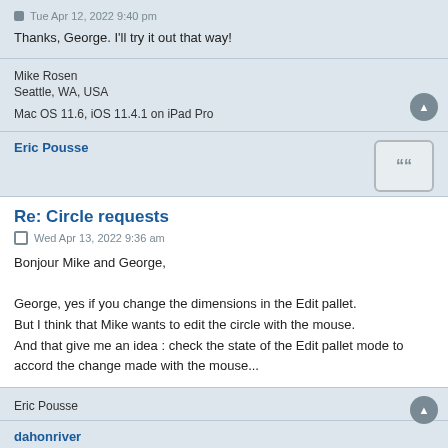Tue Apr 12, 2022 9:40 pm
Thanks, George. I'll try it out that way!
Mike Rosen
Seattle, WA, USA

Mac OS 11.6, iOS 11.4.1 on iPad Pro
Eric Pousse
Re: Circle requests
Wed Apr 13, 2022 9:36 am
Bonjour Mike and George,

George, yes if you change the dimensions in the Edit pallet.
But I think that Mike wants to edit the circle with the mouse.
And that give me an idea : check the state of the Edit pallet mode to accord the change made with the mouse...
Eric Pousse
dahonriver